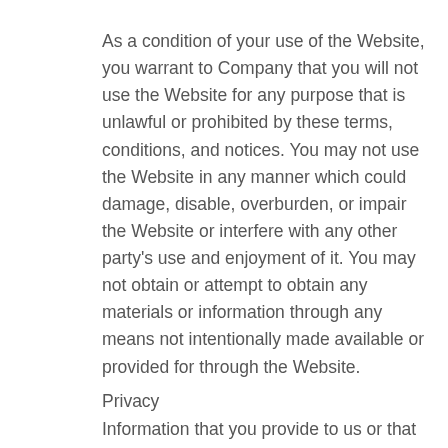As a condition of your use of the Website, you warrant to Company that you will not use the Website for any purpose that is unlawful or prohibited by these terms, conditions, and notices. You may not use the Website in any manner which could damage, disable, overburden, or impair the Website or interfere with any other party's use and enjoyment of it. You may not obtain or attempt to obtain any materials or information through any means not intentionally made available or provided for through the Website.
Privacy
Information that you provide to us or that we collect about you when